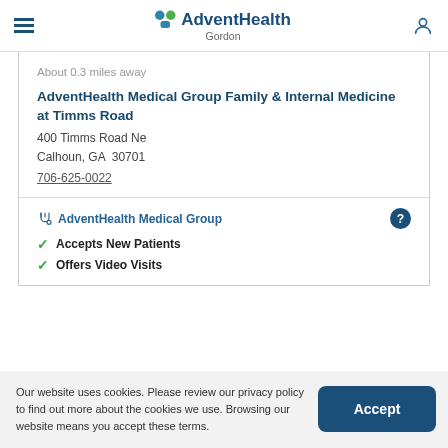AdventHealth Gordon
About 0.3 miles away
AdventHealth Medical Group Family & Internal Medicine at Timms Road
400 Timms Road Ne
Calhoun, GA 30701
706-625-0022
AdventHealth Medical Group
Accepts New Patients
Offers Video Visits
Our website uses cookies. Please review our privacy policy to find out more about the cookies we use. Browsing our website means you accept these terms.